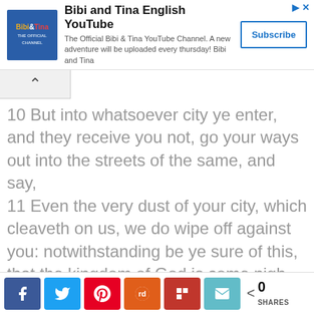[Figure (other): Bibi and Tina English YouTube channel advertisement banner with logo, description, and Subscribe button]
10 But into whatsoever city ye enter, and they receive you not, go your ways out into the streets of the same, and say,
11 Even the very dust of your city, which cleaveth on us, we do wipe off against you: notwithstanding be ye sure of this, that the kingdom of God is come nigh unto you.
12 But I say unto you, that it shall be more tolerable in that day for Sodom, than for that
[Figure (other): Social share bar with Facebook, Twitter, Pinterest, Reddit, Flipboard, Email buttons and 0 SHARES count]